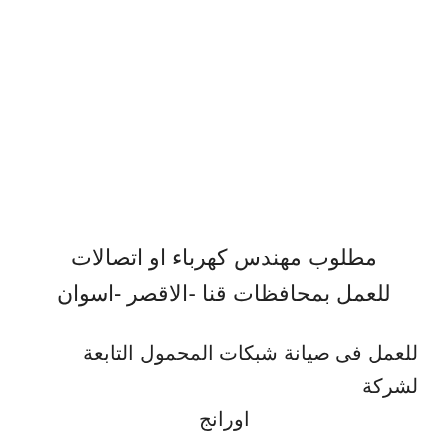مطلوب مهندس كهرباء او اتصالات للعمل بمحافظات قنا -الاقصر -اسوان
للعمل فى صيانة شبكات المحمول التابعة لشركة اورانج